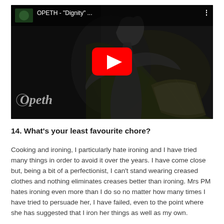[Figure (screenshot): YouTube video thumbnail for OPETH - 'Dignity' ... showing dark fantasy artwork of a skeletal/aged figure with a book, Opeth logo in bottom left, red YouTube play button in center, video title bar at top.]
14. What's your least favourite chore?
Cooking and ironing, I particularly hate ironing and I have tried many things in order to avoid it over the years. I have come close but, being a bit of a perfectionist, I can't stand wearing creased clothes and nothing eliminates creases better than ironing. Mrs PM hates ironing even more than I do so no matter how many times I have tried to persuade her, I have failed, even to the point where she has suggested that I iron her things as well as my own.